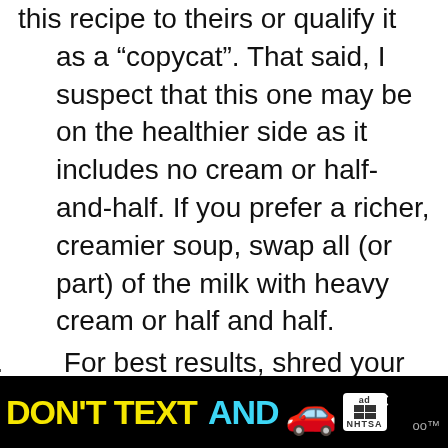this recipe to theirs or qualify it as a “copycat”. That said, I suspect that this one may be on the healthier side as it includes no cream or half-and-half. If you prefer a richer, creamier soup, swap all (or part) of the milk with heavy cream or half and half.
2. For best results, shred your own cheese. Pre-shredded bagged cheese melts strangely actually costs more.
[Figure (other): Advertisement banner: DON'T TEXT AND [car emoji] with ad badge and NHTSA logo on black background]